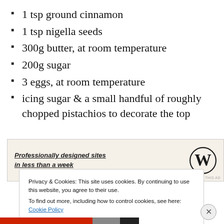1 tsp ground cinnamon
1 tsp nigella seeds
300g butter, at room temperature
200g sugar
3 eggs, at room temperature
icing sugar & a small handful of roughly chopped pistachios to decorate the top
[Figure (screenshot): WordPress advertisement banner: 'Professionally designed sites in less than a week' with WordPress logo and REPORT THIS AD link]
Privacy & Cookies: This site uses cookies. By continuing to use this website, you agree to their use.
To find out more, including how to control cookies, see here: Cookie Policy
Close and accept